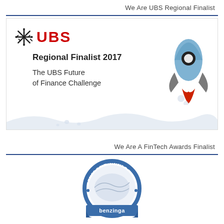We Are UBS Regional Finalist
[Figure (logo): UBS logo with snowflake icon and red UBS text, with rocket ship illustration. Text: Regional Finalist 2017, The UBS Future of Finance Challenge]
We Are A FinTech Awards Finalist
[Figure (logo): Benzinga FinTech Awards badge/seal with circular design showing FINTECH AWARDS text and benzinga branding]